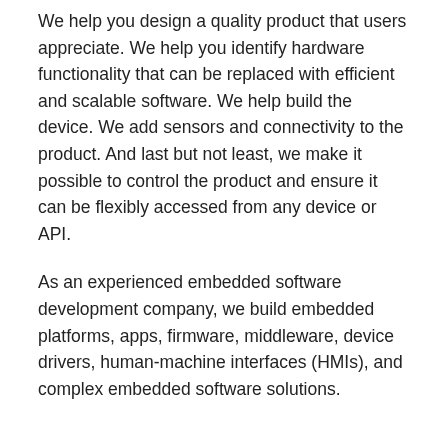We help you design a quality product that users appreciate. We help you identify hardware functionality that can be replaced with efficient and scalable software. We help build the device. We add sensors and connectivity to the product. And last but not least, we make it possible to control the product and ensure it can be flexibly accessed from any device or API.
As an experienced embedded software development company, we build embedded platforms, apps, firmware, middleware, device drivers, human-machine interfaces (HMIs), and complex embedded software solutions.
Product design and evaluation